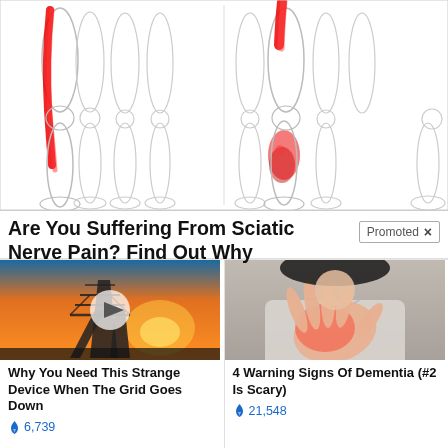[Figure (illustration): Medical illustration showing pairs of human legs with red highlighted areas indicating sciatic nerve pain pathways along the back of legs and calves]
Are You Suffering From Sciatic Nerve Pain? Find Out Why
Promoted
[Figure (photo): Photo of an electrical transmission tower/pylon against an orange sunset sky, with a video play button overlay]
Why You Need This Strange Device When The Grid Goes Down
6,739
[Figure (photo): Photo of a woman in a white shirt pressing her hand against her chest, with a red glow indicating pain or discomfort]
4 Warning Signs Of Dementia (#2 Is Scary)
21,548